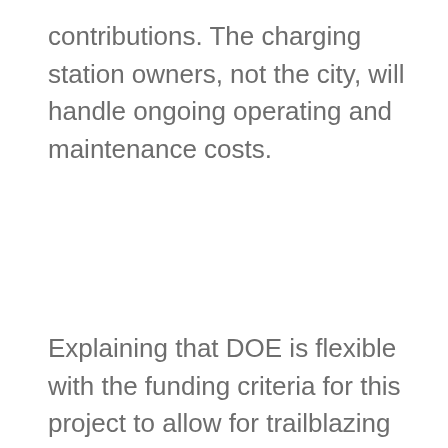contributions. The charging station owners, not the city, will handle ongoing operating and maintenance costs.
Explaining that DOE is flexible with the funding criteria for this project to allow for trailblazing and changing course as necessary, Erin Nobler, NREL project manager, said, “This is a fairly new area for transportation planners… It takes time and is frustrating — but that’s a good thing… We’re all so used to funding efforts where we have to hit milestones and deliverables. But it is OK